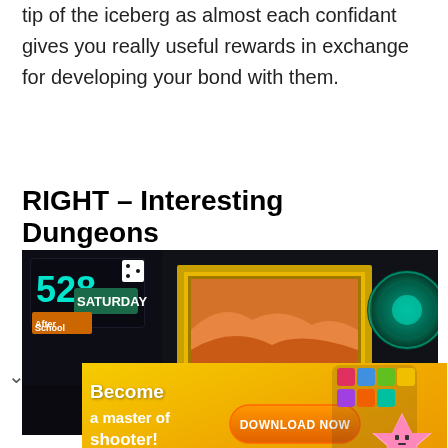tip of the iceberg as almost each confidant gives you really useful rewards in exchange for developing your bond with them.
RIGHT – Interesting Dungeons
[Figure (screenshot): Screenshot of a video game showing a dungeon scene with golden-framed picture in a dark room. Logo in top-left reads '528 Saturday After School'.]
[Figure (screenshot): Advertisement banner with orange/yellow background reading 'Become a master of shooter!' with a 'DOWNLOAD NOW' button and a pink star character holding a phone.]